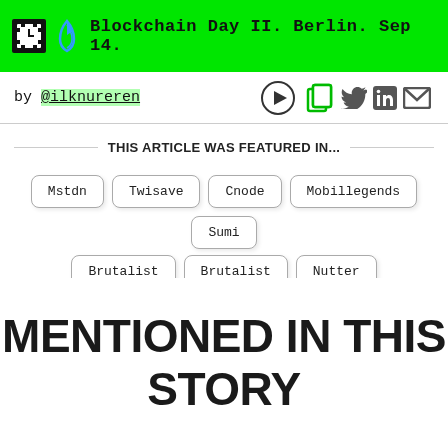Blockchain Day II. Berlin. Sep 14.
by @ilknureren
THIS ARTICLE WAS FEATURED IN...
Mstdn
Twisave
Cnode
Mobillegends
Sumi
Brutalist
Brutalist
Nutter
MENTIONED IN THIS STORY